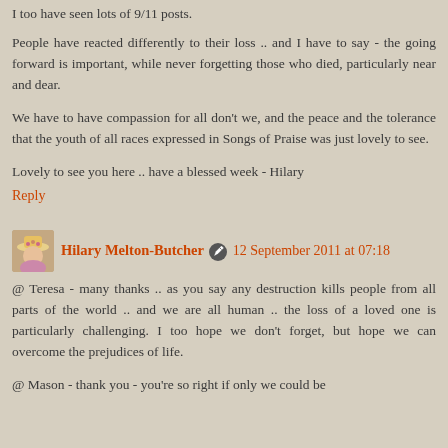I too have seen lots of 9/11 posts.
People have reacted differently to their loss .. and I have to say - the going forward is important, while never forgetting those who died, particularly near and dear.
We have to have compassion for all don't we, and the peace and the tolerance that the youth of all races expressed in Songs of Praise was just lovely to see.
Lovely to see you here .. have a blessed week - Hilary
Reply
Hilary Melton-Butcher  12 September 2011 at 07:18
@ Teresa - many thanks .. as you say any destruction kills people from all parts of the world .. and we are all human .. the loss of a loved one is particularly challenging. I too hope we don't forget, but hope we can overcome the prejudices of life.
@ Mason - thank you - you're so right if only we could be